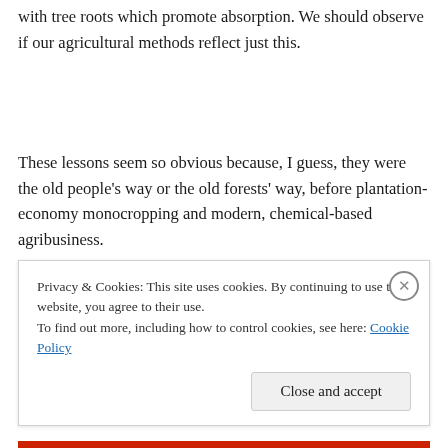with tree roots which promote absorption. We should observe if our agricultural methods reflect just this.
These lessons seem so obvious because, I guess, they were the old people's way or the old forests' way, before plantation-economy monocropping and modern, chemical-based agribusiness.
Watch Erle's TEDx Talk. Grow food that doesn't require
Privacy & Cookies: This site uses cookies. By continuing to use this website, you agree to their use.
To find out more, including how to control cookies, see here: Cookie Policy
Close and accept